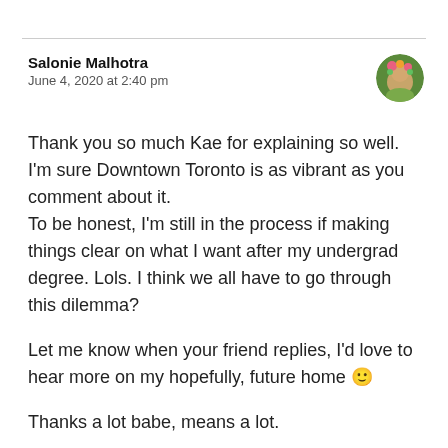Salonie Malhotra
June 4, 2020 at 2:40 pm
[Figure (illustration): Circular avatar image of a person with flowers and nature theme]
Thank you so much Kae for explaining so well. I'm sure Downtown Toronto is as vibrant as you comment about it.
To be honest, I'm still in the process if making things clear on what I want after my undergrad degree. Lols. I think we all have to go through this dilemma?
Let me know when your friend replies, I'd love to hear more on my hopefully, future home 🙂
Thanks a lot babe, means a lot.